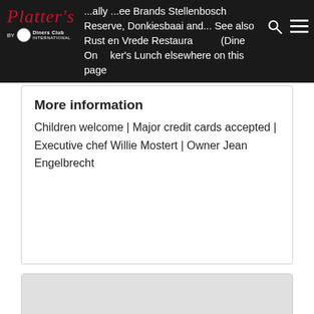Platters (logo) by Diners Club International — ...ally ...ee Brands Stellenbosch Reserve, Donkiesbaai and... See also Rust en Vrede Restaurant (Dine Only...) ...ker's Lunch elsewhere on this page
More information
Children welcome | Major credit cards accepted | Executive chef Willie Mostert | Owner Jean Engelbrecht
[Figure (photo): Photo placeholder for Indochine Restaurant at Delaire Graff Estate]
Indochine Restaurant
Delaire Graff Estate, Helshoogte Pass, Stellenbosch
Opening times
Open daily for lunch 12.30pm-2.30pm & dinner 6.30pm-